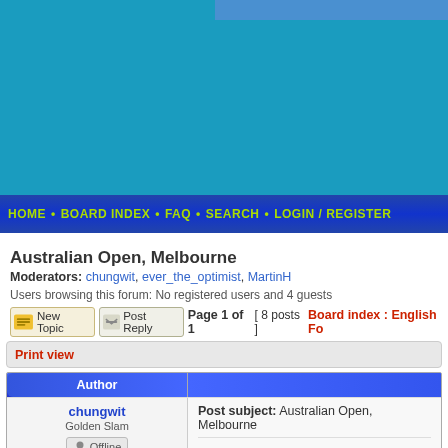[Figure (screenshot): Blue header banner area of a forum website]
HOME • BOARD INDEX • FAQ • SEARCH • LOGIN / REGISTER
Australian Open, Melbourne
Moderators: chungwit, ever_the_optimist, MartinH
Users browsing this forum: No registered users and 4 guests
Page 1 of 1 [ 8 posts ] Board index : English Fo...
Print view
| Author |  |
| --- | --- |
| chungwit
Golden Slam
Offline | Post subject: Australian Open, Melbourne

Dates: 14 - 27 January, 2019
Venue: Melbourne, Australia
Tier: Grand Slam |